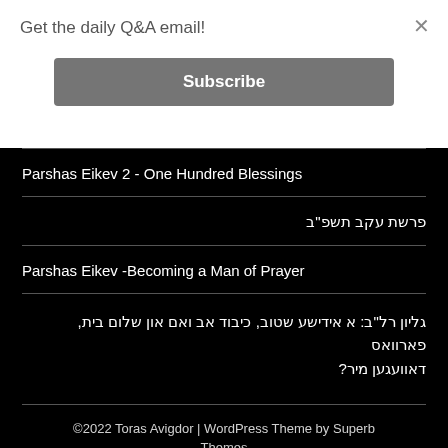Get the daily Q&A email!
Subscribe
Parshas Eikev 2 - One Hundred Blessings
פרשת עקב תשפ"ב
Parshas Eikev -Becoming a Man of Prayer
גליון רל"ב: א אידישע שטוב, כיבוד אב ואם און שלום בית, פארוואס דאוועגען מיר?
©2022 Toras Avigdor | WordPress Theme by Superb Themes